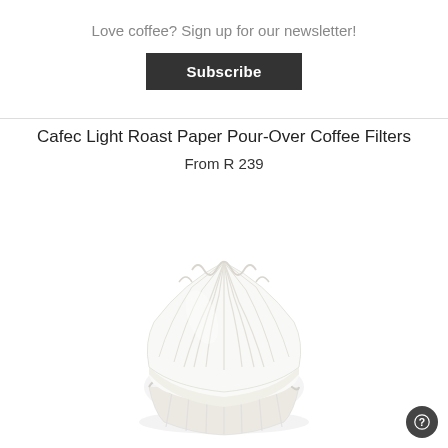Love coffee? Sign up for our newsletter!
Subscribe
Cafec Light Roast Paper Pour-Over Coffee Filters
From R 239
[Figure (photo): Stack of white Cafec Light Roast paper pour-over coffee filters shown from slightly above, with ruffled edges visible, on a white background.]